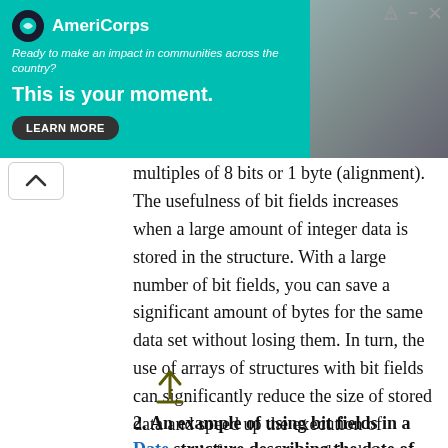[Figure (other): AmeriCorps advertisement banner with teal background, logo, tagline 'Ready to make an impact in communities across the country?', headline 'This is your moment.', LEARN MORE button, and a photo of a smiling person on the right.]
multiples of 8 bits or 1 byte (alignment). The usefulness of bit fields increases when a large amount of integer data is stored in the structure. With a large number of bit fields, you can save a significant amount of bytes for the same data set without losing them. In turn, the use of arrays of structures with bit fields can significantly reduce the size of stored data and speed up the execution of commands for processing this data.
[Figure (other): Upload/share icon arrow pointing upward with a horizontal line underneath]
2. An example of using bit fields in a Date structure describing the date of the day and the number of the day in the week